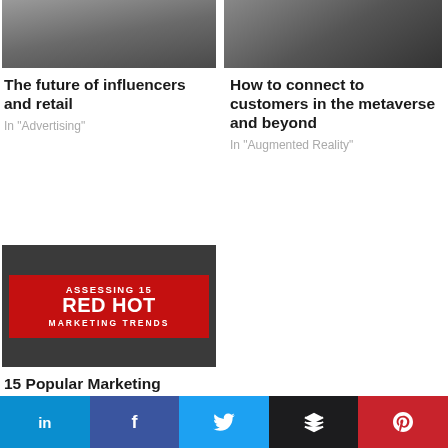[Figure (photo): Top-left article thumbnail photo, dark/grey tones]
[Figure (photo): Top-right article thumbnail photo, dark tones with person]
The future of influencers and retail
In "Advertising"
How to connect to customers in the metaverse and beyond
In "Augmented Reality"
[Figure (photo): Red banner image: ASSESSING 15 RED HOT MARKETING TRENDS on dark background]
15 Popular Marketing Trends: Hot or Not?